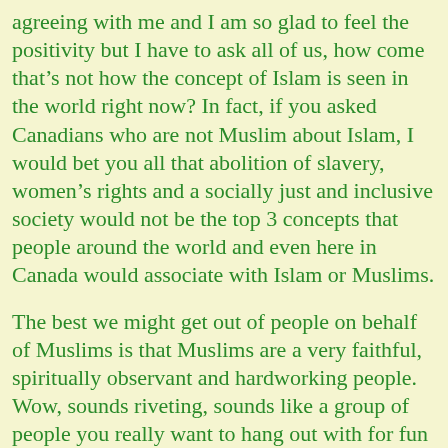agreeing with me and I am so glad to feel the positivity but I have to ask all of us, how come that's not how the concept of Islam is seen in the world right now? In fact, if you asked Canadians who are not Muslim about Islam, I would bet you all that abolition of slavery, women's rights and a socially just and inclusive society would not be the top 3 concepts that people around the world and even here in Canada would associate with Islam or Muslims.
The best we might get out of people on behalf of Muslims is that Muslims are a very faithful, spiritually observant and hardworking people. Wow, sounds riveting, sounds like a group of people you really want to hang out with for fun times. I mean who would you want to meet and hang out with? Faithful, spiritual hard workers or would you rather meet and hang out with slave abolitionists, gender equality activists and a generally welcoming and all inclusive bunch? I'd pick the second group every time. And if you didn't know any better you'd believe me if I told you those slave abolitionists, gender equality activists and welcoming folks were Canadian but I'm not sure how many takers I'd get if I tried to sell them on the idea that those same people